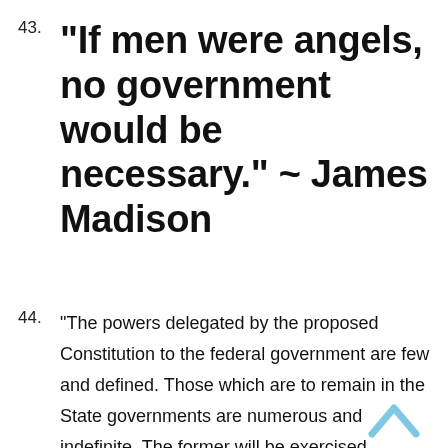43. “If men were angels, no government would be necessary.” ~ James Madison
44. “The powers delegated by the proposed Constitution to the federal government are few and defined. Those which are to remain in the State governments are numerous and indefinite. The former will be exercised principally on external objects, as war, peace, negotiation, and foreign commerce. … The powers reserved to the several States will